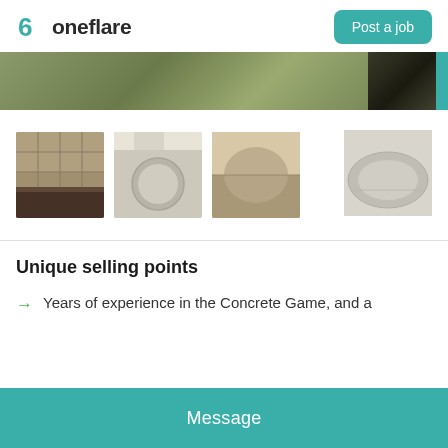[Figure (logo): Oneflare logo with flame icon on the left, 'Post a job' teal button on the right]
[Figure (photo): Hero banner image showing grass/outdoor landscape on left, dark surface on right with teal accent]
[Figure (photo): Four thumbnail photos of concrete work: stamped patio, round cutout slab, textured concrete, light-colored curved slab]
Unique selling points
Years of experience in the Concrete Game, and a
Message